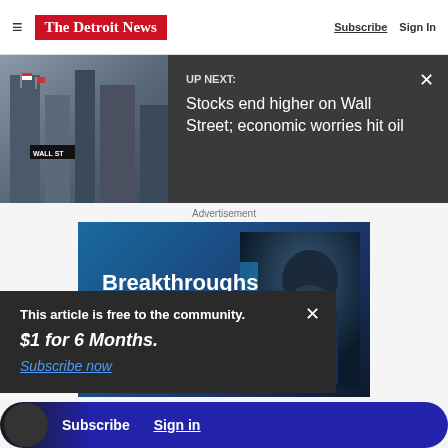The Detroit News — Subscribe | Sign In
Stocks end higher on Wall Street; economic worries hit oil
Advertisement
[Figure (photo): Advertisement banner: Breakthroughs happen here. Shows a person wearing a mask against a blue background.]
This article is free to the community. $1 for 6 Months. Subscribe now